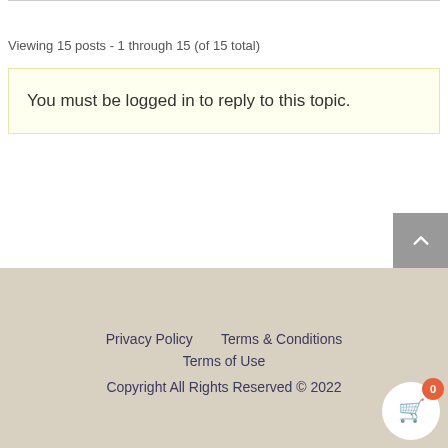Viewing 15 posts - 1 through 15 (of 15 total)
You must be logged in to reply to this topic.
Privacy Policy   Terms & Conditions   Terms of Use   Copyright All Rights Reserved © 2022